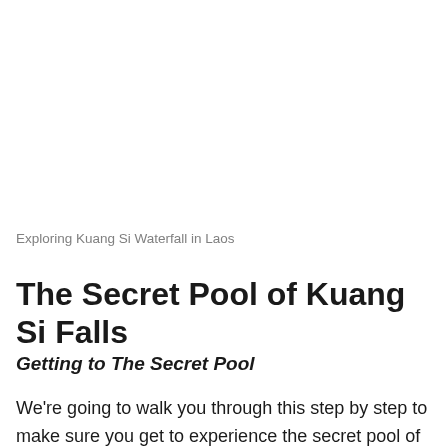Exploring Kuang Si Waterfall in Laos
The Secret Pool of Kuang Si Falls
Getting to The Secret Pool
We're going to walk you through this step by step to make sure you get to experience the secret pool of Kuang Si Falls. After you've paid your entrance fee